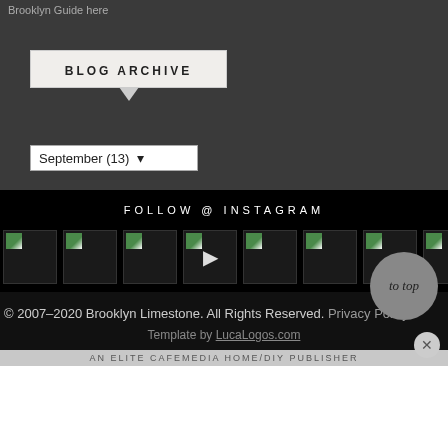Brooklyn Guide here
BLOG ARCHIVE
September (13) ▾
FOLLOW @ INSTAGRAM
[Figure (photo): Row of 8 Instagram thumbnail images, one with a play button overlay]
© 2007–2020 Brooklyn Limestone. All Rights Reserved. Privacy Policy
Template by LucaLogos.com
AN ELITE CAFEMEDIA HOME/DIY PUBLISHER